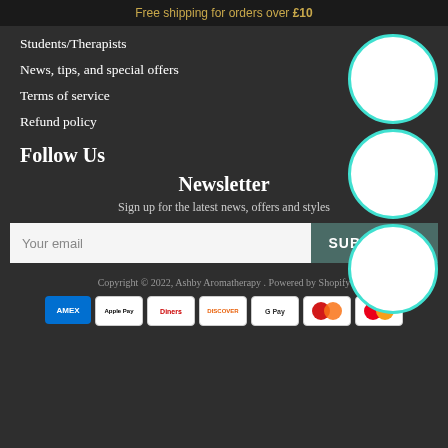Free shipping for orders over £10
Students/Therapists
News, tips, and special offers
Terms of service
Refund policy
[Figure (illustration): Three white circles with cyan borders arranged vertically on the right side]
Follow Us
Newsletter
Sign up for the latest news, offers and styles
Your email
SUBSCRIBE
Copyright © 2022, Ashby Aromatherapy . Powered by Shopify
[Figure (logo): Payment icons: Amex, Apple Pay, Diners, Discover, Google Pay, Maestro, Mastercard]